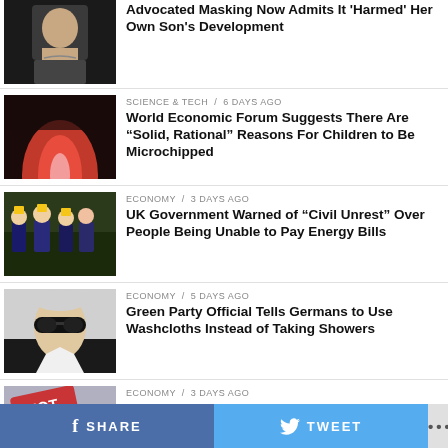Advocated Masking Now Admits It 'Harmed' Her Own Son's Development
SCIENCE & TECH / 6 days ago
World Economic Forum Suggests There Are “Solid, Rational” Reasons For Children to Be Microchipped
ECONOMY / 3 days ago
UK Government Warned of “Civil Unrest” Over People Being Unable to Pay Energy Bills
ECONOMY / 5 days ago
Green Party Official Tells Germans to Use Washcloths Instead of Taking Showers
ECONOMY / 3 days ago
Macron is an Idiot
f SHARE   🐦 TWEET   ...